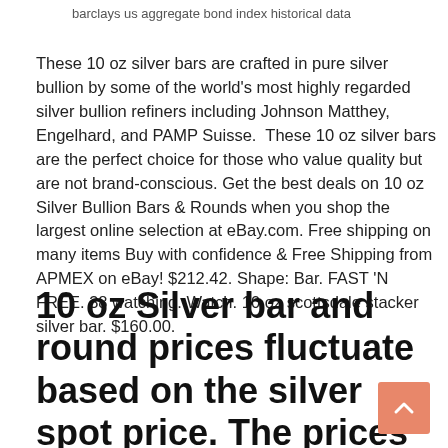barclays us aggregate bond index historical data
These 10 oz silver bars are crafted in pure silver bullion by some of the world's most highly regarded silver bullion refiners including Johnson Matthey, Engelhard, and PAMP Suisse.  These 10 oz silver bars are the perfect choice for those who value quality but are not brand-conscious. Get the best deals on 10 oz Silver Bullion Bars & Rounds when you shop the largest online selection at eBay.com. Free shipping on many items Buy with confidence & Free Shipping from APMEX on eBay! $212.42. Shape: Bar. FAST 'N FREE. 38 watching. Watch. 10 oz scottsdale stacker silver bar. $160.00.
10 oz Silver bar and round prices fluctuate based on the silver spot price. The prices for 10 oz silver bullion products shown on